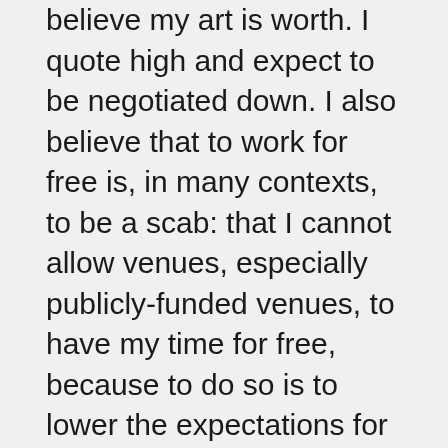believe my art is worth. I quote high and expect to be negotiated down. I also believe that to work for free is, in many contexts, to be a scab: that I cannot allow venues, especially publicly-funded venues, to have my time for free, because to do so is to lower the expectations for all other artists. I still work for free in the early stages of project development, but I’d prefer not to, and I still work for box office splits, but increasingly won’t accept it from a publicly-funded venue with paid staff.
I have much less patience now for venues and programmers that don’t pay me. I have never written a shirty email, but I’ve come close, and I do turn things down. Here is something I think about often: that the venues that I work with have paid staff with something approaching job security, but that the